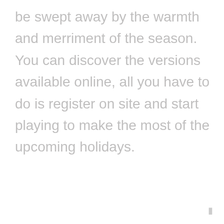be swept away by the warmth and merriment of the season. You can discover the versions available online, all you have to do is register on site and start playing to make the most of the upcoming holidays.
[Figure (illustration): Toggle/record button icon showing overlapping red-pink circle and gray circle]
Tre Dale
Total 11 posts